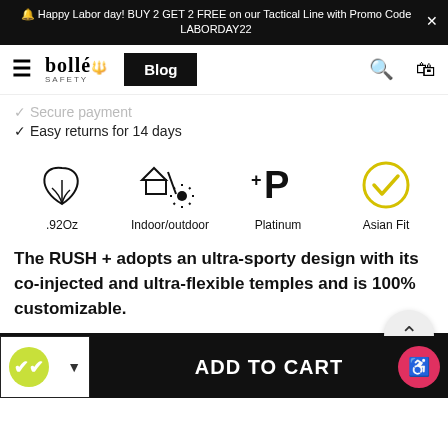🔔 Happy Labor day! BUY 2 GET 2 FREE on our Tactical Line with Promo Code LABORDAY22
[Figure (screenshot): Bolle Safety navigation bar with hamburger menu, Bolle logo, Blog button, search icon and cart icon]
✓ Secure payment
✓ Easy returns for 14 days
[Figure (infographic): Four product feature icons: feather (lightweight .92Oz), indoor/outdoor icon, Platinum coating icon, Asian Fit checkmark in yellow circle]
The RUSH + adopts an ultra-sporty design with its co-injected and ultra-flexible temples and is 100% customizable.
[Figure (screenshot): Add to cart bottom bar with swatch selector, ADD TO CART button, and accessibility icon]